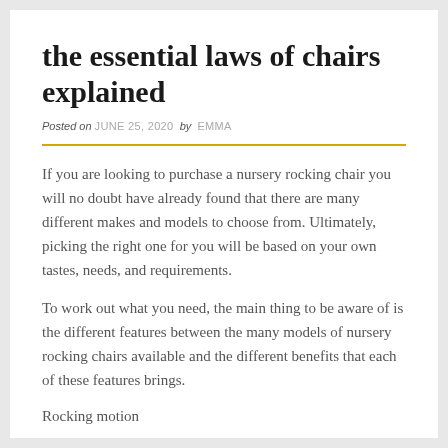the essential laws of chairs explained
Posted on JUNE 25, 2020 by EMMA
If you are looking to purchase a nursery rocking chair you will no doubt have already found that there are many different makes and models to choose from. Ultimately, picking the right one for you will be based on your own tastes, needs, and requirements.
To work out what you need, the main thing to be aware of is the different features between the many models of nursery rocking chairs available and the different benefits that each of these features brings.
Rocking motion
Glider rocker chairs are among the newer and most